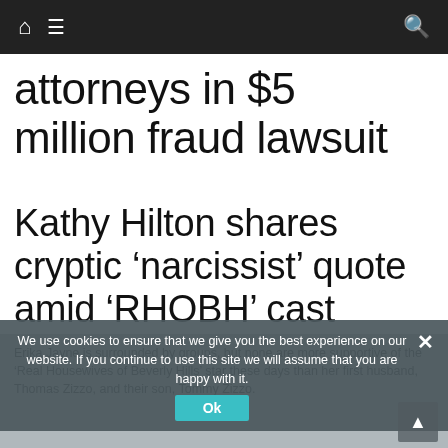Navigation bar with home, menu, and search icons
attorneys in $5 million fraud lawsuit
Kathy Hilton shares cryptic ‘narcissist’ quote amid ‘RHOBH’ cast drama
Erika Jayne is surrounded by groups, but none are more supportive of the 'Real Housewives of Beverly Hills' star these days than her first husband, Thomas Zizzo, and their son, Tommy Zizzo.
We use cookies to ensure that we give you the best experience on our website. If you continue to use this site we will assume that you are happy with it.